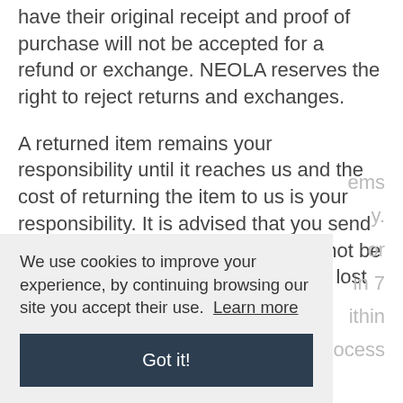have their original receipt and proof of purchase will not be accepted for a refund or exchange. NEOLA reserves the right to reject returns and exchanges.
A returned item remains your responsibility until it reaches us and the cost of returning the item to us is your responsibility. It is advised that you send it via Special Delivery since we cannot be held responsible for returns that are lost in transit.
We use cookies to improve your experience, by continuing browsing our site you accept their use. Learn more
Got it!